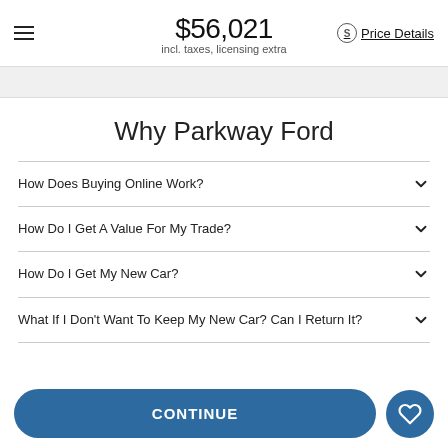$56,021 incl. taxes, licensing extra | Price Details
Why Parkway Ford
How Does Buying Online Work?
How Do I Get A Value For My Trade?
How Do I Get My New Car?
What If I Don't Want To Keep My New Car? Can I Return It?
CONTINUE